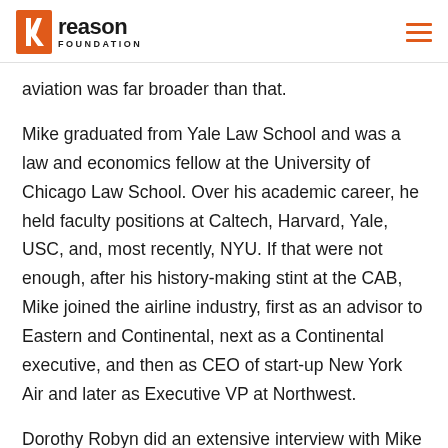Reason Foundation
aviation was far broader than that.
Mike graduated from Yale Law School and was a law and economics fellow at the University of Chicago Law School. Over his academic career, he held faculty positions at Caltech, Harvard, Yale, USC, and, most recently, NYU. If that were not enough, after his history-making stint at the CAB, Mike joined the airline industry, first as an advisor to Eastern and Continental, next as a Continental executive, and then as CEO of start-up New York Air and later as Executive VP at Northwest.
Dorothy Robyn did an extensive interview with Mike at DePaul University on April 17, 2006. It